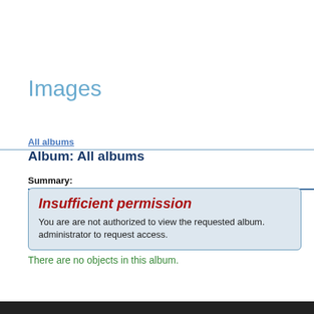Images
All albums
Album: All albums
Summary:
Insufficient permission
You are are not authorized to view the requested album. administrator to request access.
There are no objects in this album.